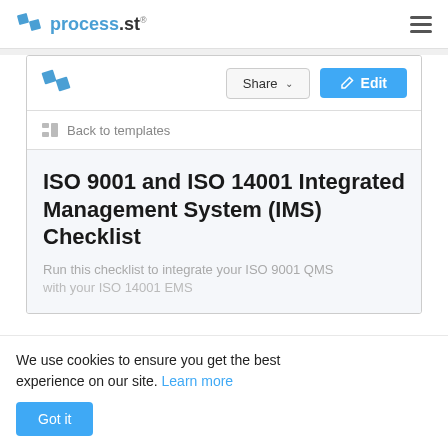process.st
[Figure (screenshot): process.st web application screenshot showing ISO 9001 and ISO 14001 IMS Checklist template page with Share and Edit buttons, Back to templates link, and cookie consent banner]
ISO 9001 and ISO 14001 Integrated Management System (IMS) Checklist
Run this checklist to integrate your ISO 9001 QMS with your ISO 14001 EMS
We use cookies to ensure you get the best experience on our site. Learn more